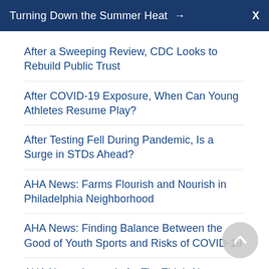Turning Down the Summer Heat → X
After a Sweeping Review, CDC Looks to Rebuild Public Trust
After COVID-19 Exposure, When Can Young Athletes Resume Play?
After Testing Fell During Pandemic, Is a Surge in STDs Ahead?
AHA News: Farms Flourish and Nourish in Philadelphia Neighborhood
AHA News: Finding Balance Between the Good of Youth Sports and Risks of COVID-19
AHA News: Instead of a Tie, Think About Healthy Gifts and Gratitude for Father's Day
AHA News: Study Links Green Communities to Lower Stroke Risk
AI Model Predicts Which Animal Viruses Are Likely to